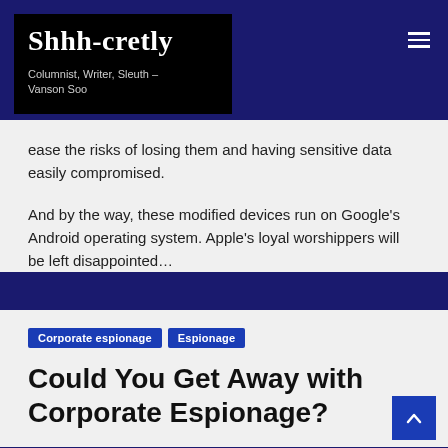Shhh-cretly — Columnist, Writer, Sleuth – Vanson Soo
ease the risks of losing them and having sensitive data easily compromised.
And by the way, these modified devices run on Google's Android operating system. Apple's loyal worshippers will be left disappointed…
Could You Get Away with Corporate Espionage?
Corporate espionage  Espionage